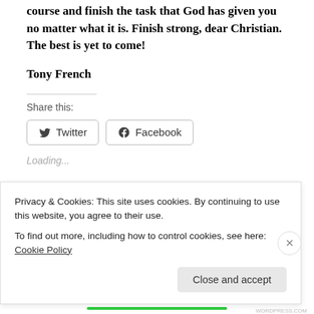course and finish the task that God has given you no matter what it is. Finish strong, dear Christian. The best is yet to come!
Tony French
Share this:
Loading...
Related
Privacy & Cookies: This site uses cookies. By continuing to use this website, you agree to their use.
To find out more, including how to control cookies, see here: Cookie Policy
Close and accept